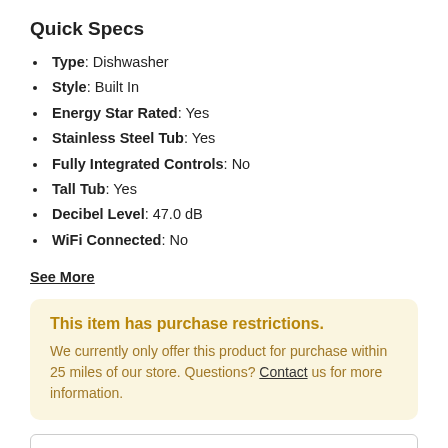Quick Specs
Type: Dishwasher
Style: Built In
Energy Star Rated: Yes
Stainless Steel Tub: Yes
Fully Integrated Controls: No
Tall Tub: Yes
Decibel Level: 47.0 dB
WiFi Connected: No
See More
This item has purchase restrictions. We currently only offer this product for purchase within 25 miles of our store. Questions? Contact us for more information.
|  |  |
| --- | --- |
| Regular Price | $1,049.99 |
| Our Price | $999.99 |
| You Save | $50 |